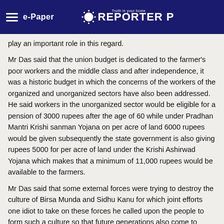e-Paper | Reporter Post
play an important role in this regard.
Mr Das said that the union budget is dedicated to the farmer's poor workers and the middle class and after independence, it was a historic budget in which the concerns of the workers of the organized and unorganized sectors have also been addressed. He said workers in the unorganized sector would be eligible for a pension of 3000 rupees after the age of 60 while under Pradhan Mantri Krishi sanman Yojana on per acre of land 6000 rupees would be given subsequently the state government is also giving rupees 5000 for per acre of land under the Krishi Ashirwad Yojana which makes that a minimum of 11,000 rupees would be available to the farmers.
Mr Das said that some external forces were trying to destroy the culture of Birsa Munda and Sidhu Kanu for which joint efforts one idiot to take on these forces he called upon the people to form such a culture so that future generations also come to follow it and pointed out that tremendous awareness has now been found in this area among the people of Santhal Pargana region. He said that the state government has also made provisions that children from classes 1 to 5 in the